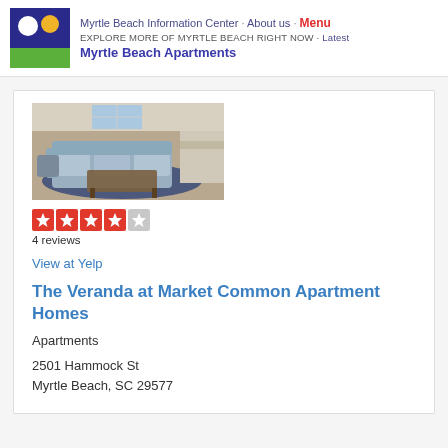Myrtle Beach Information Center · About us · Menu
EXPLORE MORE OF MYRTLE BEACH RIGHT NOW · Latest
Myrtle Beach Apartments
[Figure (photo): Interior photo of an apartment living room with grey sofa, coffee table, and blue rug]
4 reviews
View at Yelp
The Veranda at Market Common Apartment Homes
Apartments
2501 Hammock St
Myrtle Beach, SC 29577